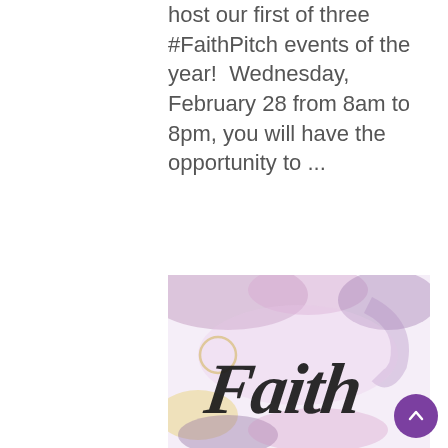host our first of three #FaithPitch events of the year!  Wednesday, February 28 from 8am to 8pm, you will have the opportunity to ...
[Figure (illustration): Watercolor background in soft purple, pink, and yellow tones with the word 'Faith' written in large black brush script lettering]